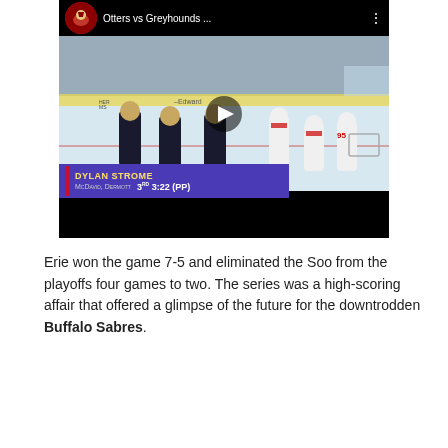[Figure (screenshot): YouTube video thumbnail showing a hockey game between Otters and Greyhounds. Players in dark jerseys celebrate near the net. Score overlay shows Dylan Strome goal assisted by McDavid, Dermott at 3:22 of the 3rd period on a power play.]
Erie won the game 7-5 and eliminated the Soo from the playoffs four games to two. The series was a high-scoring affair that offered a glimpse of the future for the downtrodden Buffalo Sabres.